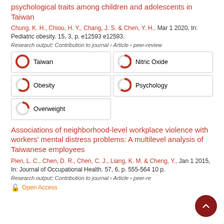psychological traits among children and adolescents in Taiwan
Chung, K. H., Chiou, H. Y., Chang, J. S. & Chen, Y. H., Mar 1 2020, In: Pediatric obesity. 15, 3, p. e12593 e12593.
Research output: Contribution to journal › Article › peer-review
Taiwan
Nitric Oxide
Obesity
Psychology
Overweight
Associations of neighborhood-level workplace violence with workers' mental distress problems: A multilevel analysis of Taiwanese employees
Pien, L. C., Chen, D. R., Chen, C. J., Liang, K. M. & Cheng, Y., Jan 1 2015, In: Journal of Occupational Health. 57, 6, p. 555-564 10 p.
Research output: Contribution to journal › Article › peer-review
Open Access